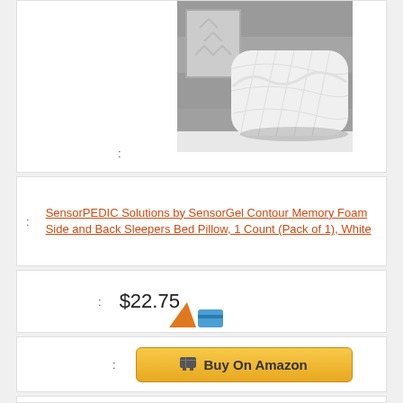[Figure (photo): White contour memory foam pillow displayed on a white shelf against a grey wooden background with decorative items]
:
: SensorPEDIC Solutions by SensorGel Contour Memory Foam Side and Back Sleepers Bed Pillow, 1 Count (Pack of 1), White
: $22.75
[Figure (logo): Partial orange and blue logo]
: Buy On Amazon